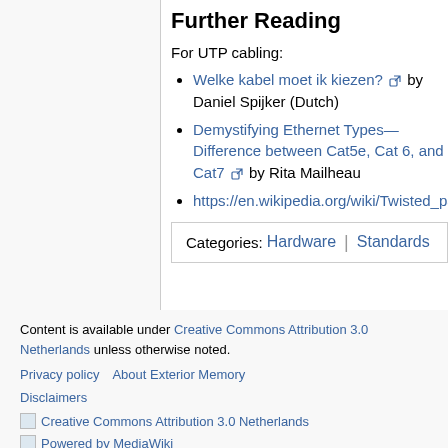Further Reading
For UTP cabling:
Welke kabel moet ik kiezen? [ext] by Daniel Spijker (Dutch)
Demystifying Ethernet Types—Difference between Cat5e, Cat 6, and Cat7 [ext] by Rita Mailheau
https://en.wikipedia.org/wiki/Twisted_pai…
| Categories: | Hardware | Standards |
| --- | --- | --- |
Content is available under Creative Commons Attribution 3.0 Netherlands unless otherwise noted.
Privacy policy   About Exterior Memory
Disclaimers
[Figure (logo): Creative Commons Attribution 3.0 Netherlands logo]
[Figure (logo): Powered by MediaWiki logo]